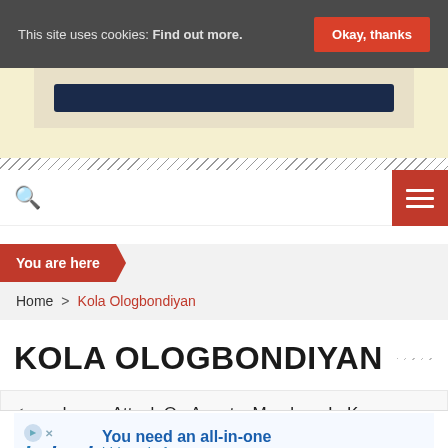This site uses cookies: Find out more. Okay, thanks
[Figure (screenshot): Top banner/ad area with dark navy button element on light background]
Search icon and hamburger menu navigation bar
You are here
Home > Kola Ologbondiyan
KOLA OLOGBONDIYAN
ondemns Attack On Agents, Members In Kano
[Figure (screenshot): Indeed advertisement banner: You need an all-in-one hiring platform.]